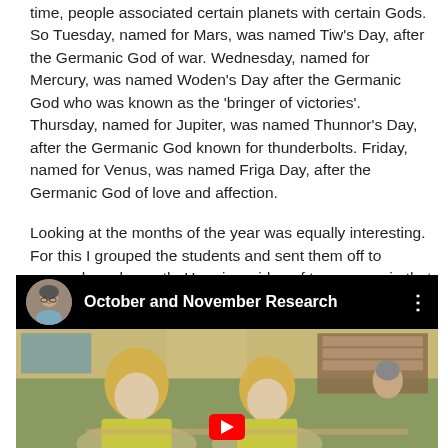time, people associated certain planets with certain Gods.  So Tuesday, named for Mars, was named Tiw's Day, after the Germanic God of war.  Wednesday, named for Mercury, was named Woden's Day after the Germanic God who was known as the 'bringer of victories'.  Thursday, named for Jupiter, was named Thunnor's Day, after the Germanic God known for thunderbolts.  Friday, named for Venus, was named Friga Day, after the Germanic God of love and affection.
Looking at the months of the year was equally interesting.  For this I grouped the students and sent them off to research each month.  Here is a video of two groups in that process.
[Figure (screenshot): Video thumbnail showing a classroom scene with students at desks. Overlay bar at top shows a circular avatar of a woman and the title 'October and November Research'. Three vertical dots menu icon at top right. YouTube play button visible at bottom.]